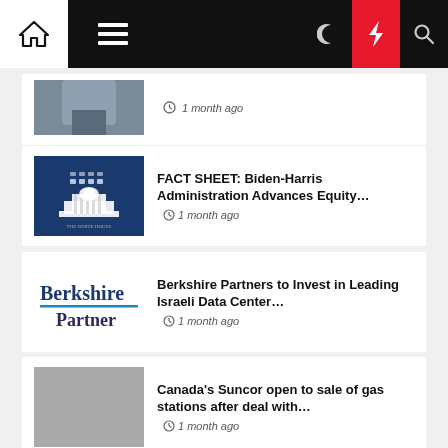Navigation bar with home, menu, moon, bolt, and search icons
1 month ago
FACT SHEET: Biden-Harris Administration Advances Equity…
1 month ago
Berkshire Partners to Invest in Leading Israeli Data Center…
1 month ago
Canada's Suncor open to sale of gas stations after deal with…
1 month ago
Categories